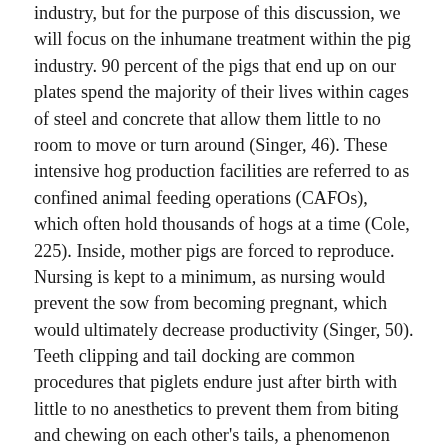industry, but for the purpose of this discussion, we will focus on the inhumane treatment within the pig industry. 90 percent of the pigs that end up on our plates spend the majority of their lives within cages of steel and concrete that allow them little to no room to move or turn around (Singer, 46). These intensive hog production facilities are referred to as confined animal feeding operations (CAFOs), which often hold thousands of hogs at a time (Cole, 225). Inside, mother pigs are forced to reproduce. Nursing is kept to a minimum, as nursing would prevent the sow from becoming pregnant, which would ultimately decrease productivity (Singer, 50). Teeth clipping and tail docking are common procedures that piglets endure just after birth with little to no anesthetics to prevent them from biting and chewing on each other's tails, a phenomenon that does not happen outside of confinement (singer, 50). In 2000, a group of researchers set out to study the effects that these CAFOs had on the local environment. What they found was astonishing. When studying a hog production facility in North Carolina, researchers found that slurry, or waste runoff from these feeding operations, threatened the